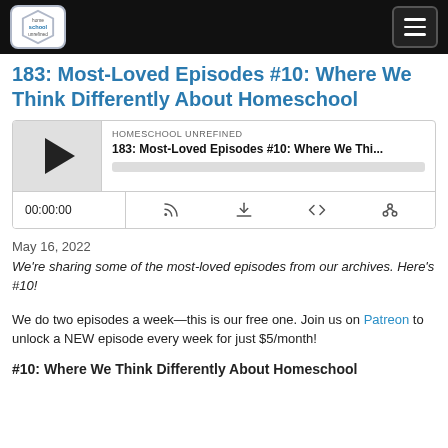Homeschool Unrefined — navigation bar with logo and hamburger menu
183: Most-Loved Episodes #10: Where We Think Differently About Homeschool
[Figure (other): Podcast player widget showing HOMESCHOOL UNREFINED, episode title '183: Most-Loved Episodes #10: Where We Thi...', play button, progress bar, time 00:00:00, and control icons (RSS, download, embed, share)]
May 16, 2022
We're sharing some of the most-loved episodes from our archives. Here's #10!
We do two episodes a week—this is our free one. Join us on Patreon to unlock a NEW episode every week for just $5/month!
#10: Where We Think Differently About Homeschool